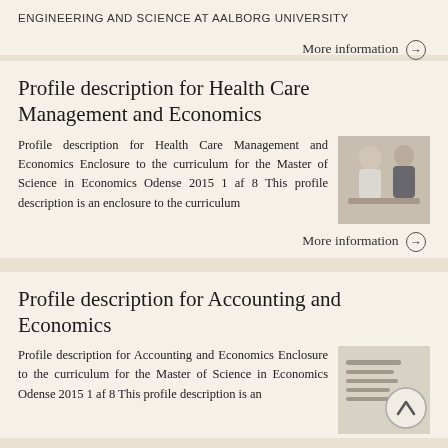ENGINEERING AND SCIENCE AT AALBORG UNIVERSITY
More information →
Profile description for Health Care Management and Economics
Profile description for Health Care Management and Economics Enclosure to the curriculum for the Master of Science in Economics Odense 2015 1 af 8 This profile description is an enclosure to the curriculum
[Figure (photo): A doctor or professor consulting with a patient or student at a desk]
More information →
Profile description for Accounting and Economics
Profile description for Accounting and Economics Enclosure to the curriculum for the Master of Science in Economics Odense 2015 1 af 8 This profile description is an
[Figure (other): Document/text lines graphic with scroll-to-top button overlay]